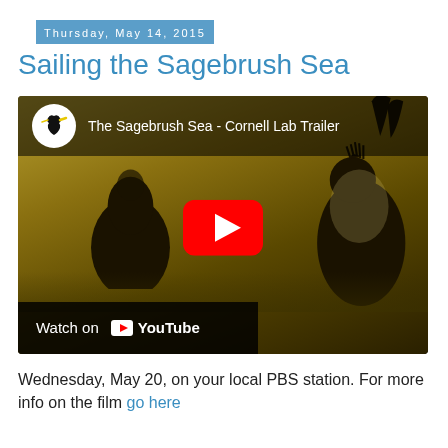Thursday, May 14, 2015
Sailing the Sagebrush Sea
[Figure (screenshot): YouTube video thumbnail for 'The Sagebreush Sea - Cornell Lab Trailer' showing sage grouse birds in golden light with a YouTube play button overlay and 'Watch on YouTube' bar at bottom.]
Wednesday, May 20, on your local PBS station. For more info on the film go here